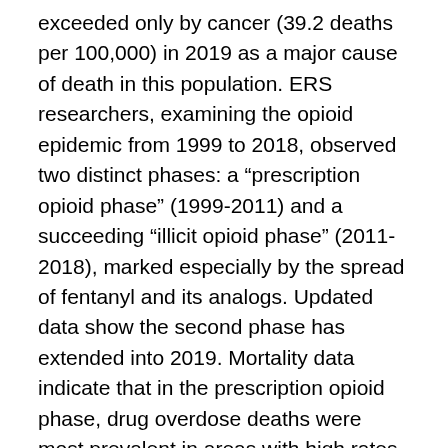exceeded only by cancer (39.2 deaths per 100,000) in 2019 as a major cause of death in this population. ERS researchers, examining the opioid epidemic from 1999 to 2018, observed two distinct phases: a “prescription opioid phase” (1999-2011) and a succeeding “illicit opioid phase” (2011-2018), marked especially by the spread of fentanyl and its analogs. Updated data show the second phase has extended into 2019. Mortality data indicate that in the prescription opioid phase, drug overdose deaths were most prevalent in areas with high rates of physical disability, such as central Appalachia. Rural residents, middle-age men and women in their 40s and early 50s were most affected, as were Whites and American Indian/Alaskan Natives. Opioid prescriptions ceased driving the epidemic in 2011 as increased regulation and greater awareness of prescription addiction problems